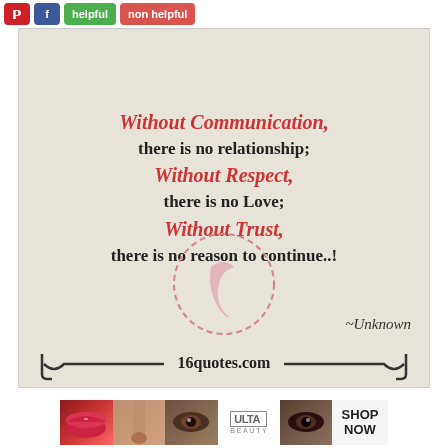[Figure (infographic): Social sharing toolbar with Pinterest, Facebook, helpful and non helpful buttons at top]
[Figure (infographic): Quote image on beige/tan textured background reading: Without Communication, there is no relationship; Without Respect, there is no Love; Without Trust, there is no reason to continue..! ~Unknown. With 16quotes.com branding at bottom and a decorative pink stamp circle.]
[Figure (infographic): ULTA beauty advertisement banner with lip, eye, and brush imagery and SHOP NOW call to action]